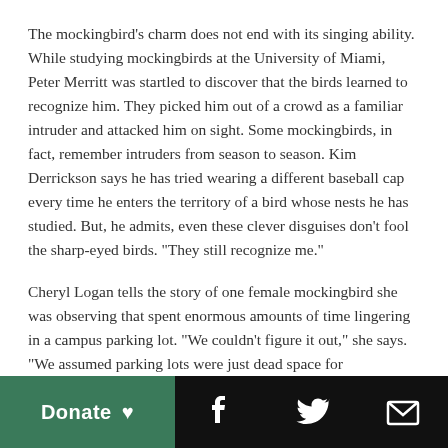The mockingbird's charm does not end with its singing ability. While studying mockingbirds at the University of Miami, Peter Merritt was startled to discover that the birds learned to recognize him. They picked him out of a crowd as a familiar intruder and attacked him on sight. Some mockingbirds, in fact, remember intruders from season to season. Kim Derrickson says he has tried wearing a different baseball cap every time he enters the territory of a bird whose nests he has studied. But, he admits, even these clever disguises don't fool the sharp-eyed birds. "They still recognize me."
Cheryl Logan tells the story of one female mockingbird she was observing that spent enormous amounts of time lingering in a campus parking lot. "We couldn't figure it out," she says. "We assumed parking lots were just dead space for mockingbirds." Then she took a closer look: The bird was pulling freshly squashed bugs off car windshields.
In the 1975 Pulitzer Prize-winning book Pilgrim at Tinker Creek, Annie Dillard wrote, "The mockingbird's invention is
Donate ♥